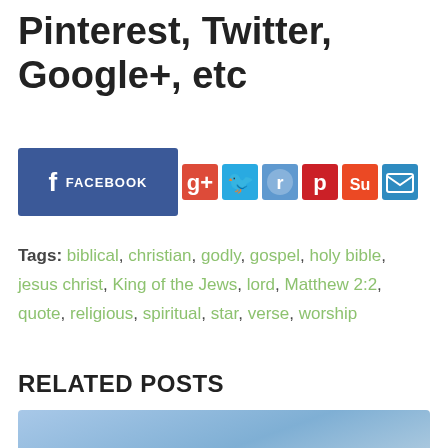Pinterest, Twitter, Google+, etc
[Figure (infographic): Social media share buttons: Facebook, Google+, Twitter, Reddit, Pinterest, StumbleUpon, Email]
Tags: biblical, christian, godly, gospel, holy bible, jesus christ, King of the Jews, lord, Matthew 2:2, quote, religious, spiritual, star, verse, worship
RELATED POSTS
[Figure (photo): Blue sky background with green grass leaves and a yellow flower at the bottom center]